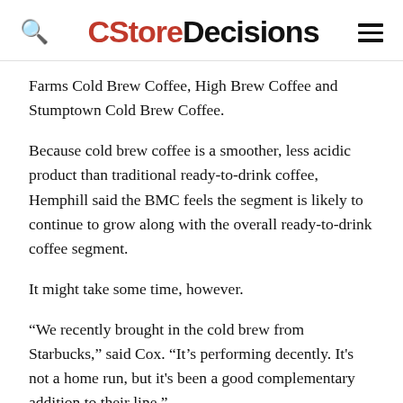CStoreDecisions
Farms Cold Brew Coffee, High Brew Coffee and Stumptown Cold Brew Coffee.
Because cold brew coffee is a smoother, less acidic product than traditional ready-to-drink coffee, Hemphill said the BMC feels the segment is likely to continue to grow along with the overall ready-to-drink coffee segment.
It might take some time, however.
“We recently brought in the cold brew from Starbucks,” said Cox. “It’s performing decently. It's not a home run, but it's been a good complementary addition to their line.”